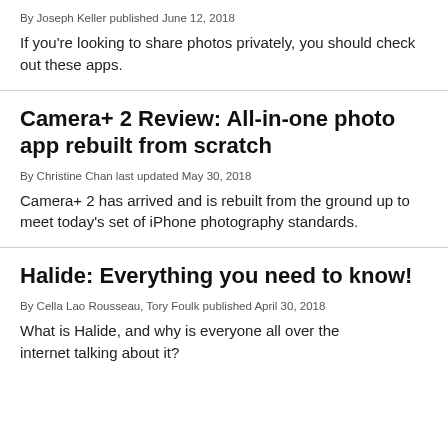By Joseph Keller published June 12, 2018
If you're looking to share photos privately, you should check out these apps.
Camera+ 2 Review: All-in-one photo app rebuilt from scratch
By Christine Chan last updated May 30, 2018
Camera+ 2 has arrived and is rebuilt from the ground up to meet today's set of iPhone photography standards.
Halide: Everything you need to know!
By Cella Lao Rousseau, Tory Foulk published April 30, 2018
What is Halide, and why is everyone all over the internet talking about it?